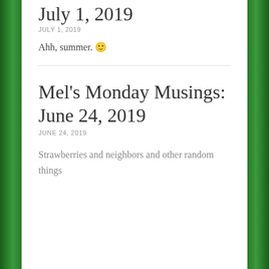July 1, 2019
JULY 1, 2019
Ahh, summer. 🙂
Mel's Monday Musings: June 24, 2019
JUNE 24, 2019
Strawberries and neighbors and other random things